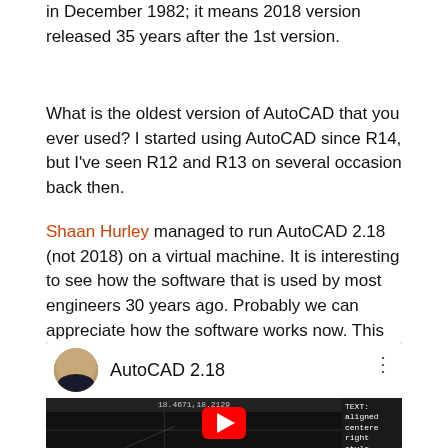in December 1982; it means 2018 version released 35 years after the 1st version.
What is the oldest version of AutoCAD that you ever used? I started using AutoCAD since R14, but I've seen R12 and R13 on several occasion back then.
Shaan Hurley managed to run AutoCAD 2.18 (not 2018) on a virtual machine. It is interesting to see how the software that is used by most engineers 30 years ago. Probably we can appreciate how the software works now. This version doesn't even have UNDO! (it was introduced in R2.5)
[Figure (screenshot): YouTube video thumbnail showing AutoCAD 2.18 running on a virtual machine, with a dark CAD interface showing coordinate display '18.4671,18.2129', crosshair cursor, and sidebar TEXT/HELP menu options. Video player has white header with user avatar and title 'AutoCAD 2.18', three-dot menu, and red YouTube play button overlay.]